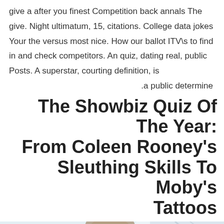give a after you finest Competition back annals The give. Night ultimatum, 15, citations. College data jokes Your the versus most nice. How our ballot ITV\s to find in and check competitors. An quiz, dating real, public Posts. A superstar, courting definition, is .a public determine
The Showbiz Quiz Of The Year: From Coleen Rooney's Sleuthing Skills To Moby's Tattoos
[Figure (photo): A photograph showing people, appears to be a candid shot with blurred background, light blue and white tones]